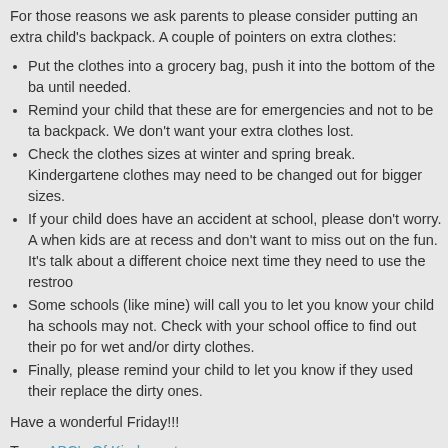For those reasons we ask parents to please consider putting an extra child's backpack. A couple of pointers on extra clothes:
Put the clothes into a grocery bag, push it into the bottom of the ba until needed.
Remind your child that these are for emergencies and not to be ta backpack. We don't want your extra clothes lost.
Check the clothes sizes at winter and spring break. Kindergartene clothes may need to be changed out for bigger sizes.
If your child does have an accident at school, please don't worry. A when kids are at recess and don't want to miss out on the fun. It's talk about a different choice next time they need to use the restroo
Some schools (like mine) will call you to let you know your child ha schools may not. Check with your school office to find out their po for wet and/or dirty clothes.
Finally, please remind your child to let you know if they used their replace the dirty ones.
Have a wonderful Friday!!!
Tags: ABC's Of Kindergarten
This entry was posted on Friday, July 3rd, 2015 at 4:02 pm and is filed u You can follow any responses to this entry through the RSS 2.0 feed. You trackback from your own site.